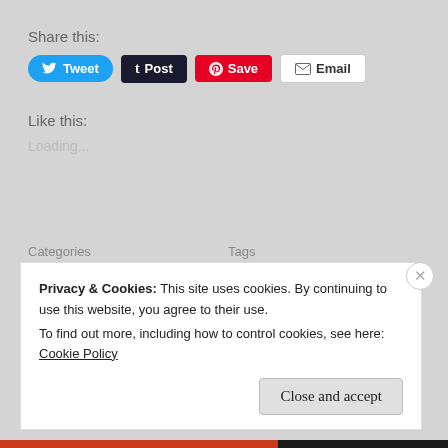Share this:
[Figure (screenshot): Social share buttons: Tweet (blue), Post (dark), Save (red/Pinterest), Email (white/outlined)]
Like this:
Loading...
Categories
LIFE
TWO CITIES
Tags
BALANCE
MENTAL DISEASE
PEOPLE
Privacy & Cookies: This site uses cookies. By continuing to use this website, you agree to their use.
To find out more, including how to control cookies, see here: Cookie Policy
Close and accept